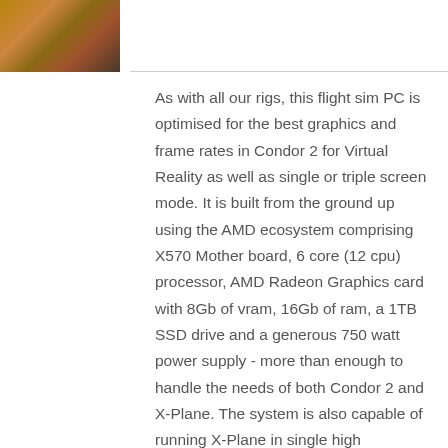[Figure (photo): Partial photo thumbnail in the top-left corner, showing a warm-toned brown image (appears to be an animal or object, cropped).]
As with all our rigs, this flight sim PC is optimised for the best graphics and frame rates in Condor 2 for Virtual Reality as well as single or triple screen mode. It is built from the ground up using the AMD ecosystem comprising X570 Mother board, 6 core (12 cpu) processor, AMD Radeon Graphics card with 8Gb of vram, 16Gb of ram, a 1TB SSD drive and a generous 750 watt power supply - more than enough to handle the needs of both Condor 2 and X-Plane. The system is also capable of running X-Plane in single high